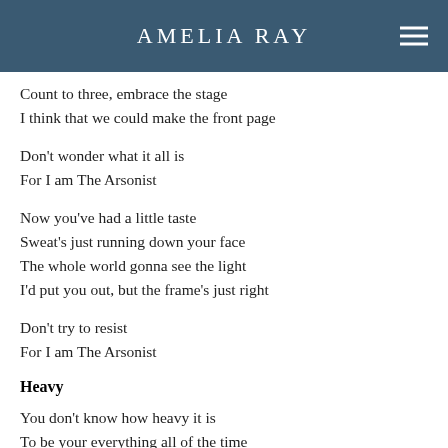AMELIA RAY
Count to three, embrace the stage
I think that we could make the front page
Don't wonder what it all is
For I am The Arsonist
Now you've had a little taste
Sweat's just running down your face
The whole world gonna see the light
I'd put you out, but the frame's just right
Don't try to resist
For I am The Arsonist
Heavy
You don't know how heavy it is
To be your everything all of the time